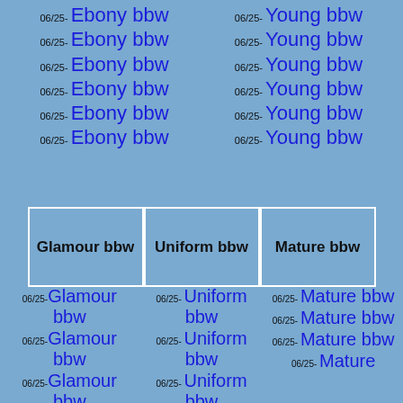06/25- Ebony bbw
06/25- Ebony bbw
06/25- Ebony bbw
06/25- Ebony bbw
06/25- Ebony bbw
06/25- Ebony bbw
06/25- Young bbw
06/25- Young bbw
06/25- Young bbw
06/25- Young bbw
06/25- Young bbw
06/25- Young bbw
| Glamour bbw | Uniform bbw | Mature bbw |
| --- | --- | --- |
06/25- Glamour bbw
06/25- Glamour bbw
06/25- Glamour bbw
06/25- Glamour bbw
06/25- Uniform bbw
06/25- Uniform bbw
06/25- Uniform bbw
06/25- Uniform bbw
06/25- Mature bbw
06/25- Mature bbw
06/25- Mature bbw
06/25- Mature bbw